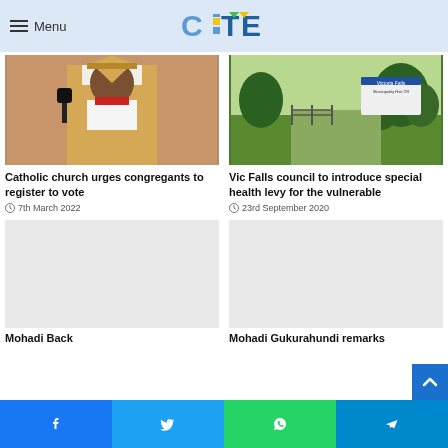Menu — CITE
[Figure (photo): Catholic bishop or priest speaking at a microphone, wearing golden ceremonial robes]
Catholic church urges congregants to register to vote
7th March 2022
[Figure (photo): Victoria Falls Municipality office sign with green trees in background]
Vic Falls council to introduce special health levy for the vulnerable
23rd September 2020
Mohadi Back
Mohadi Gukurahundi remarks
Facebook  Twitter  WhatsApp  Telegram